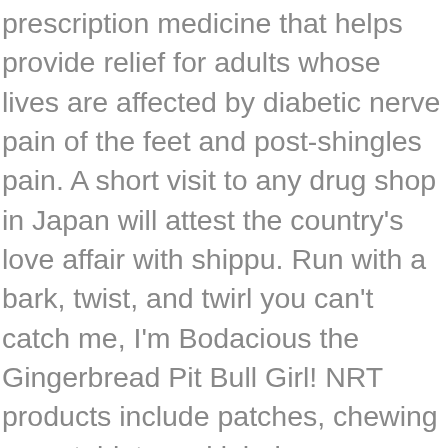prescription medicine that helps provide relief for adults whose lives are affected by diabetic nerve pain of the feet and post-shingles pain. A short visit to any drug shop in Japan will attest the country's love affair with shippu. Run with a bark, twist, and twirl you can't catch me, I'm Bodacious the Gingerbread Pit Bull Girl! NRT products include patches, chewing gum, tablets and inhalers. Discover Our Other Products. Opioid-tolerant patients. 7, pp. Nicotine replacement therapy (NRT) has been available in Australia for nearly 30 years and is the most widely used pharmacotherapy to help smokers quit. A quarter of people with diabetes and 35% of people with HIV have neuropathic pain. The shortage is expected to continue until July 2021. Our key therapy areas. $12.99 Magnetic Therapy Pain Relief 1462 – Relieves Pain on Neck, Back, Shoulders, Leg, … Share with friends if you can and post pictures if you'd like. Combining